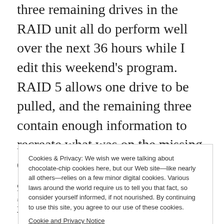three remaining drives in the RAID unit all do perform well over the next 36 hours while I edit this weekend's program. RAID 5 allows one drive to be pulled, and the remaining three contain enough information to recreate what was on the missing drive. But it can't do that if another drive fails in the meantime.

My redundancy move will be to purchase a couple of spares...better quality and larger capacity, to support an eventual upgrade to the unit. Adding a larger
Cookies & Privacy: We wish we were talking about chocolate-chip cookies here, but our Web site—like nearly all others—relies on a few minor digital cookies. Various laws around the world require us to tell you that fact, so consider yourself informed, if not nourished. By continuing to use this site, you agree to our use of these cookies. Cookie and Privacy Notice [Close and Accept button]
Most of them are critical on the weekend they are